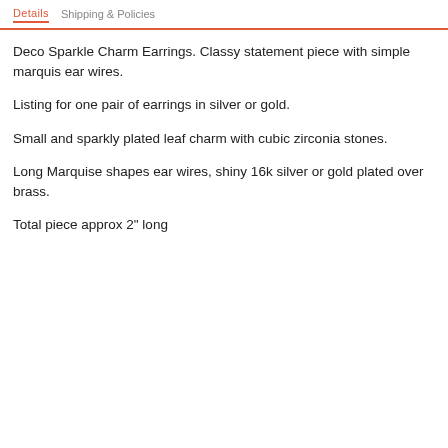Details   Shipping & Policies
Deco Sparkle Charm Earrings. Classy statement piece with simple marquis ear wires.
Listing for one pair of earrings in silver or gold.
Small and sparkly plated leaf charm with cubic zirconia stones.
Long Marquise shapes ear wires, shiny 16k silver or gold plated over brass.
Total piece approx 2" long